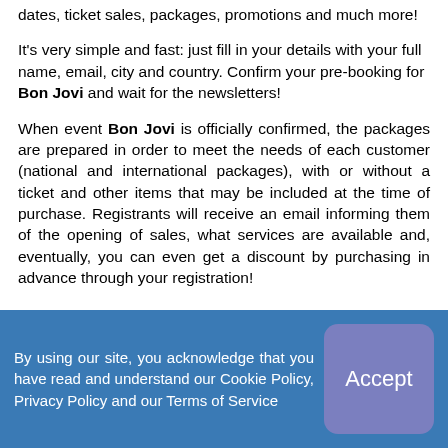dates, ticket sales, packages, promotions and much more!
It's very simple and fast: just fill in your details with your full name, email, city and country. Confirm your pre-booking for Bon Jovi and wait for the newsletters!
When event Bon Jovi is officially confirmed, the packages are prepared in order to meet the needs of each customer (national and international packages), with or without a ticket and other items that may be included at the time of purchase. Registrants will receive an email informing them of the opening of sales, what services are available and, eventually, you can even get a discount by purchasing in advance through your registration!
By using our site, you acknowledge that you have read and understand our Cookie Policy, Privacy Policy and our Terms of Service
Accept